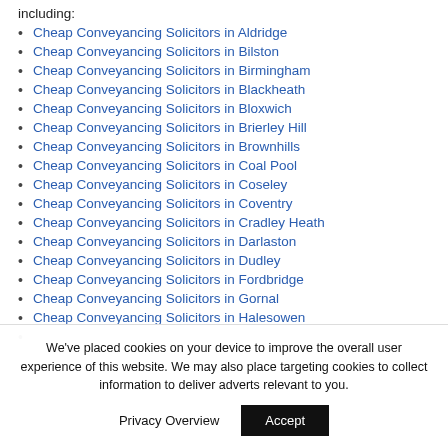including:
Cheap Conveyancing Solicitors in Aldridge
Cheap Conveyancing Solicitors in Bilston
Cheap Conveyancing Solicitors in Birmingham
Cheap Conveyancing Solicitors in Blackheath
Cheap Conveyancing Solicitors in Bloxwich
Cheap Conveyancing Solicitors in Brierley Hill
Cheap Conveyancing Solicitors in Brownhills
Cheap Conveyancing Solicitors in Coal Pool
Cheap Conveyancing Solicitors in Coseley
Cheap Conveyancing Solicitors in Coventry
Cheap Conveyancing Solicitors in Cradley Heath
Cheap Conveyancing Solicitors in Darlaston
Cheap Conveyancing Solicitors in Dudley
Cheap Conveyancing Solicitors in Fordbridge
Cheap Conveyancing Solicitors in Gornal
Cheap Conveyancing Solicitors in Halesowen
We've placed cookies on your device to improve the overall user experience of this website. We may also place targeting cookies to collect information to deliver adverts relevant to you.